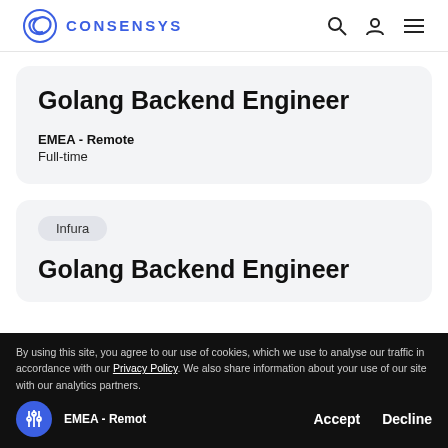CONSENSYS
Golang Backend Engineer
EMEA - Remote
Full-time
Infura
Golang Backend Engineer
By using this site, you agree to our use of cookies, which we use to analyse our traffic in accordance with our Privacy Policy. We also share information about your use of our site with our analytics partners.
EMEA - Remot  Accept   Decline